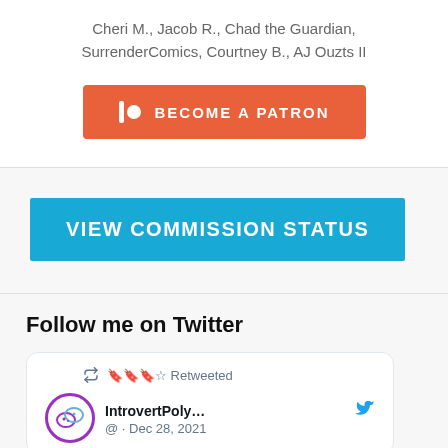Cheri M., Jacob R., Chad the Guardian, SurrenderComics, Courtney B., AJ Ouzts II
[Figure (other): Patreon 'Become a Patron' button in salmon/orange color with Patreon logo icon]
[Figure (other): Cyan blue 'VIEW COMMISSION STATUS' button]
Follow me on Twitter
[Figure (screenshot): Tweet card showing a retweet, with IntrovertPoly... account, Twitter bird icon, date Dec 28, 2021, and a circular avatar with chat bubble cloud icons in purple]